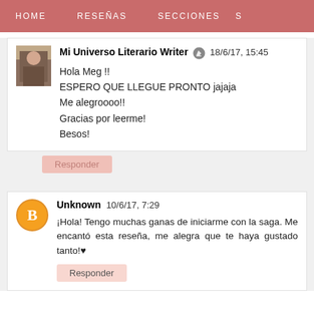HOME   RESEÑAS   SECCIONES   S
Mi Universo Literario Writer 🖊 18/6/17, 15:45
Hola Meg !!
ESPERO QUE LLEGUE PRONTO jajaja
Me alegroooo!!
Gracias por leerme!
Besos!
Responder
Unknown  10/6/17, 7:29
¡Hola! Tengo muchas ganas de iniciarme con la saga. Me encantó esta reseña, me alegra que te haya gustado tanto!♥
Responder